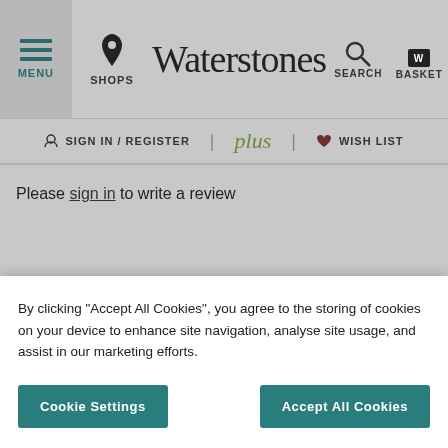Waterstones — MENU | SHOPS | SEARCH | BASKET
SIGN IN / REGISTER | plus | WISH LIST
Please sign in to write a review
FOLLOW US
By clicking "Accept All Cookies", you agree to the storing of cookies on your device to enhance site navigation, analyse site usage, and assist in our marketing efforts.
Cookie Settings
Accept All Cookies